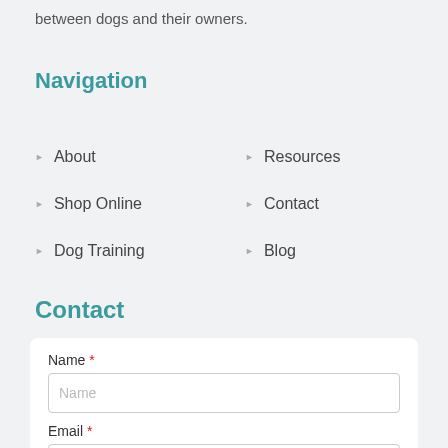between dogs and their owners.
Navigation
About
Resources
Shop Online
Contact
Dog Training
Blog
Contact
Name * (form field with placeholder 'Name')
Email * (form field with placeholder 'Email')